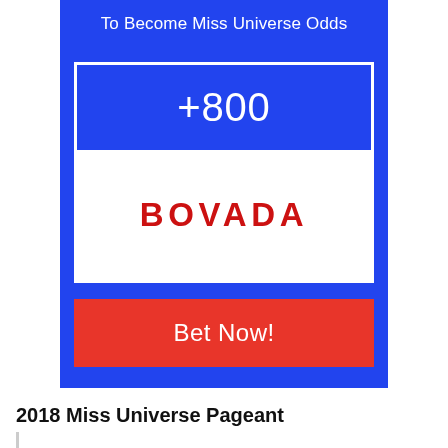To Become Miss Universe Odds
[Figure (infographic): Bovada betting widget showing +800 odds with red Bet Now! button]
2018 Miss Universe Pageant